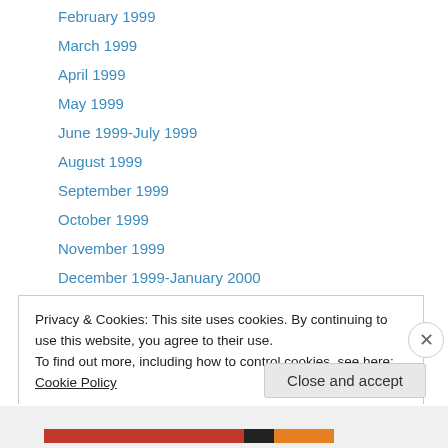February 1999
March 1999
April 1999
May 1999
June 1999-July 1999
August 1999
September 1999
October 1999
November 1999
December 1999-January 2000
2000 Archives:
February 2000
March 2000
April 2000
Privacy & Cookies: This site uses cookies. By continuing to use this website, you agree to their use.
To find out more, including how to control cookies, see here: Cookie Policy